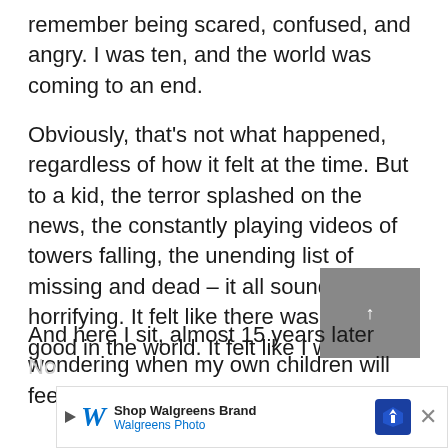remember being scared, confused, and angry. I was ten, and the world was coming to an end.
Obviously, that's not what happened, regardless of how it felt at the time. But to a kid, the terror splashed on the news, the constantly playing videos of towers falling, the unending list of missing and dead – it all sounded horrifying. It felt like there was no more good in the world. It felt like I was next.
And here I sit, almost 15 years later wondering when my own children will feel that empty fear.
No... [partially visible]
[Figure (screenshot): Walgreens advertisement banner: Shop Walgreens Brand, Walgreens Photo, with blue diamond navigation icon and close button]